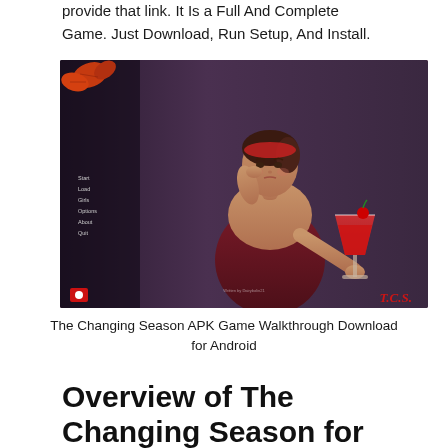provide that link. It Is a Full And Complete Game. Just Download, Run Setup, And Install.
[Figure (screenshot): Screenshot of The Changing Season game main menu showing a woman holding a red cocktail glass. Left side shows menu options: Start, Load, Girls, Options, About, Quit. Bottom left has a red record button, bottom right shows T.C.S. logo in red italic text. Autumn leaves visible in top left corner.]
The Changing Season APK Game Walkthrough Download for Android
Overview of The Changing Season for APK Game